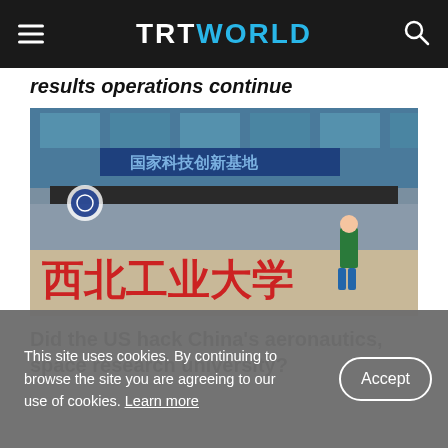TRT WORLD
results operations continue
[Figure (photo): Exterior of Northwestern Polytechnical University (西北工业大学) in China, showing the building facade with Chinese characters on a stone wall and a person walking in front.]
Did the US hack China's aeronautics, space research university?
This site uses cookies. By continuing to browse the site you are agreeing to our use of cookies. Learn more